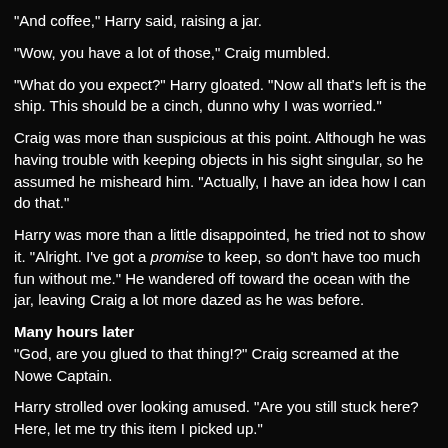"And coffee," Harry said, raising a jar.
"Wow, you have a lot of those," Craig mumbled.
"What do you expect?" Harry gloated. "Now all that's left is the ship. This should be a cinch, dunno why I was worried."
Craig was more than suspicious at this point. Although he was having trouble with keeping objects in his sight singular, so he assumed he misheard him. "Actually, I have an idea how I can do that."
Harry was more than a little disappointed, he tried not to show it. "Alright. I've got a promise to keep, so don't have too much fun without me." He wandered off toward the ocean with the jar, leaving Craig a lot more dazed as he was before.
Many hours later
"God, are you glued to that thing!?" Craig screamed at the Nowe Captain.
Harry strolled over looking amused. "Are you still stuck here? Here, let me try this item I picked up."
"You're not going to shoot him, are you?" Craig asked.
Harry lowered the phaser, "no. Oh come on, I've been good so far. I didn't shoot that idiot with the dolls. I gave you the bar fight."
"Yeah thanks for that," Craig rolled his eyes. "Let me try this last one." He held up a poster so Captain Windfast could read it.